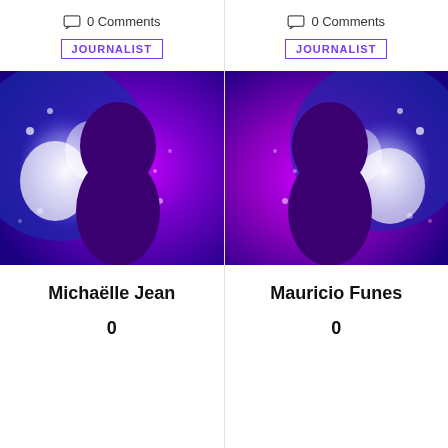0 Comments
JOURNALIST
[Figure (illustration): Silhouette of a person's head against a blue and magenta/purple abstract background with white splatter effect]
Michaëlle Jean
0
0 Comments
JOURNALIST
[Figure (illustration): Silhouette of a person's head against a blue and magenta/purple abstract background with white splatter effect]
Mauricio Funes
0